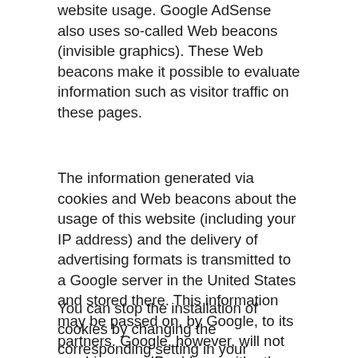website usage. Google AdSense also uses so-called Web beacons (invisible graphics). These Web beacons make it possible to evaluate information such as visitor traffic on these pages.
The information generated via cookies and Web beacons about the usage of this website (including your IP address) and the delivery of advertising formats is transmitted to a Google server in the United States and stored there. This information may be passed on, by Google, to its partners. Google, however, will not combine your IP address with other information stored by you.
You can stop the installation of cookies by changing the corresponding setting in your browser; however, we have to point out that in this case you might not have access to this website's full functionality. By using this website, you state that you agree with Google processing the data obtained about you in the